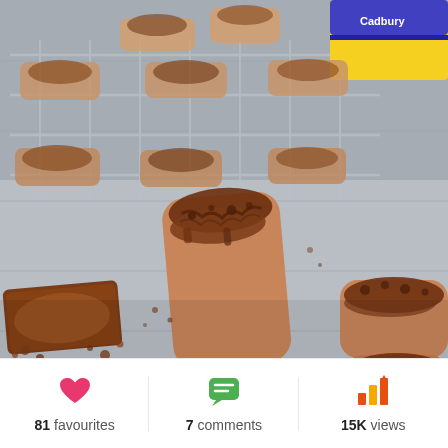[Figure (photo): Food photography showing chocolate-topped finger biscuits/eclairs on a wire cooling rack and a light blue-grey wooden surface. Several biscuits are covered with crumbled chocolate. A broken piece with chocolate filling is visible in the lower left. A yellow and blue Cadbury wrapper is visible in the upper right corner.]
81 favourites
7 comments
15K views